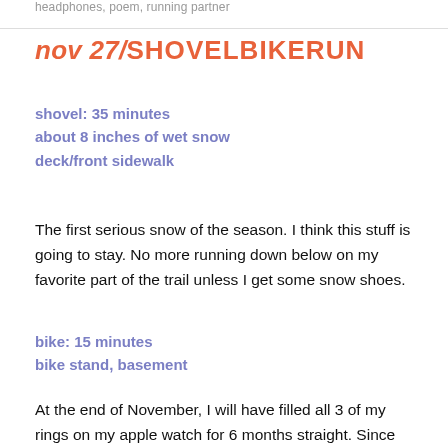headphones, poem, running partner
nov 27/SHOVELBIKERUN
shovel: 35 minutes
about 8 inches of wet snow
deck/front sidewalk
The first serious snow of the season. I think this stuff is going to stay. No more running down below on my favorite part of the trail unless I get some snow shoes.
bike: 15 minutes
bike stand, basement
At the end of November, I will have filled all 3 of my rings on my apple watch for 6 months straight. Since